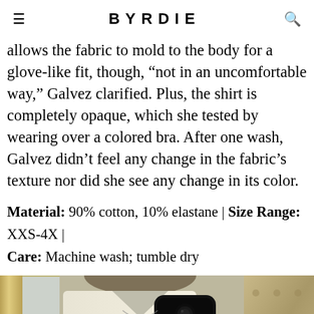BYRDIE
allows the fabric to mold to the body for a glove-like fit, though, “not in an uncomfortable way,” Galvez clarified. Plus, the shirt is completely opaque, which she tested by wearing over a colored bra. After one wash, Galvez didn’t feel any change in the fabric’s texture nor did she see any change in its color.
Material: 90% cotton, 10% elastane | Size Range: XXS-4X | Care: Machine wash; tumble dry
[Figure (photo): A person taking a mirror selfie wearing a white/cream shirt. A mirror with a gold frame is visible on the left. A tufted headboard is visible in the background on the right.]